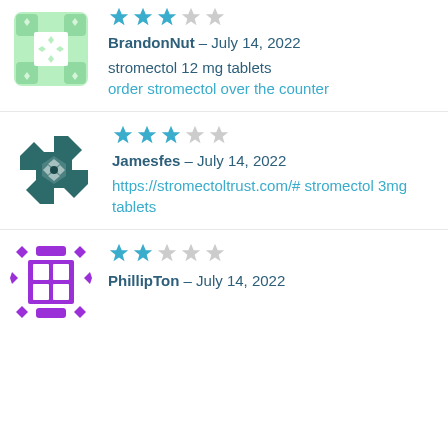[Figure (illustration): Green avatar icon with checkered/dotted pattern]
★★★☆☆ BrandonNut – July 14, 2022 stromectol 12 mg tablets order stromectol over the counter
[Figure (illustration): Dark teal/green geometric pinwheel avatar icon]
★★★☆☆ Jamesfes – July 14, 2022 https://stromectoltrust.com/# stromectol 3mg tablets
[Figure (illustration): Purple decorative avatar icon with symmetrical pattern]
★★☆☆☆ PhillipTon – July 14, 2022